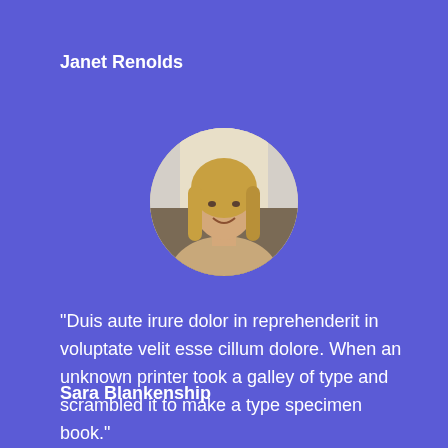Janet Renolds
[Figure (photo): Circular profile photo of a woman with long blonde hair, smiling, on a light background.]
“Duis aute irure dolor in reprehenderit in voluptate velit esse cillum dolore.  When an unknown printer took a galley of type and scrambled it to make a type specimen book.”
Sara Blankenship